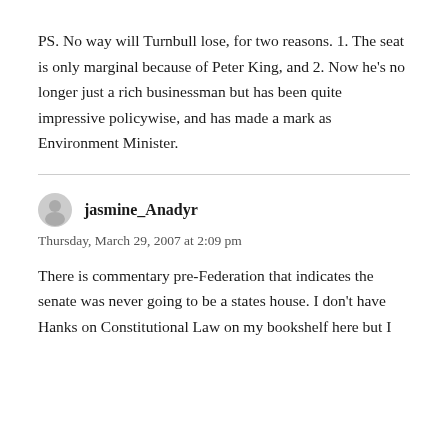PS. No way will Turnbull lose, for two reasons. 1. The seat is only marginal because of Peter King, and 2. Now he’s no longer just a rich businessman but has been quite impressive policywise, and has made a mark as Environment Minister.
jasmine_Anadyr
Thursday, March 29, 2007 at 2:09 pm
There is commentary pre-Federation that indicates the senate was never going to be a states house. I don’t have Hanks on Constitutional Law on my bookshelf here but I